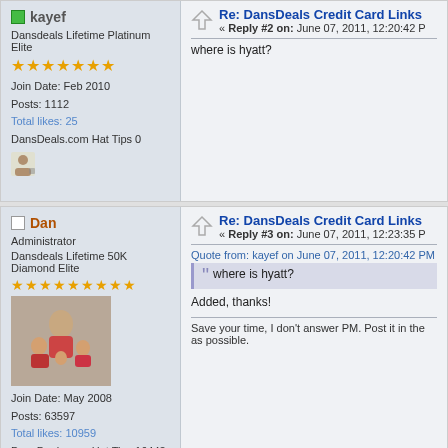kayef — Dansdeals Lifetime Platinum Elite — Join Date: Feb 2010 — Posts: 1112 — Total likes: 25 — DansDeals.com Hat Tips 0
Re: DansDeals Credit Card Links — Reply #2 on: June 07, 2011, 12:20:42 P
where is hyatt?
Dan — Administrator — Dansdeals Lifetime 50K Diamond Elite — Join Date: May 2008 — Posts: 63597 — Total likes: 10959 — DansDeals.com Hat Tips 16442 — Gender: male
Re: DansDeals Credit Card Links — Reply #3 on: June 07, 2011, 12:23:35 P
Quote from: kayef on June 07, 2011, 12:20:42 PM — where is hyatt?
Added, thanks!
Save your time, I don't answer PM. Post it in the as possible.